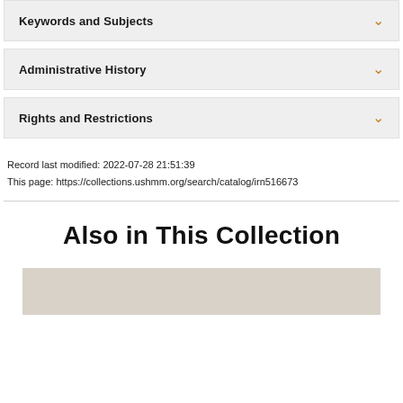Keywords and Subjects
Administrative History
Rights and Restrictions
Record last modified: 2022-07-28 21:51:39
This page: https://collections.ushmm.org/search/catalog/irn516673
Also in This Collection
[Figure (photo): Placeholder image area at bottom of page]